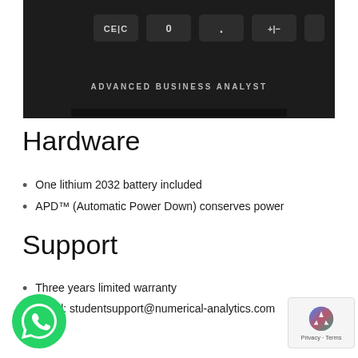[Figure (photo): Bottom portion of a dark/black calculator showing keys CE|C, 0, ., +|- and one blank key, with 'ADVANCED BUSINESS ANALYST' text label below the keys]
Hardware
One lithium 2032 battery included
APD™ (Automatic Power Down) conserves power
Support
Three years limited warranty
Email: studentsupport@numerical-analytics.com
[Figure (logo): WhatsApp green circular chat button icon]
[Figure (logo): Google reCAPTCHA Privacy & Terms badge]